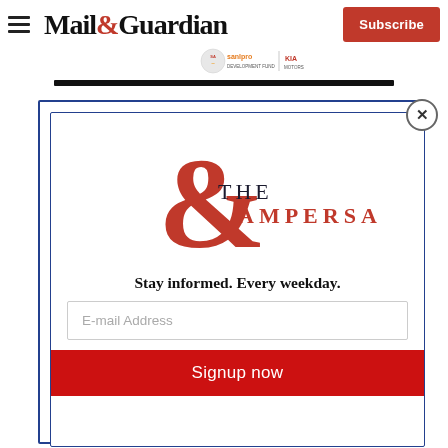Mail&Guardian
[Figure (logo): Sanlpro Development Fund and KIA Motors sponsor logos]
[Figure (screenshot): Newsletter signup modal for The Ampersand newsletter by Mail & Guardian, with email input and Signup now button]
Stay informed. Every weekday.
E-mail Address
Signup now